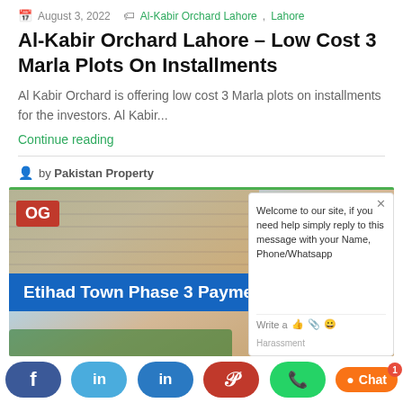August 3, 2022  Al-Kabir Orchard Lahore, Lahore
Al-Kabir Orchard Lahore – Low Cost 3 Marla Plots On Installments
Al Kabir Orchard is offering low cost 3 Marla plots on installments for the investors. Al Kabir...
Continue reading
by Pakistan Property
[Figure (photo): Etihad Town Phase 3 Payment Plan promotional image showing a housing development render with blue banner text and OG badge. A chat popup overlay is visible on the right side.]
Social share bar: Facebook, Twitter, LinkedIn, Pinterest, WhatsApp, Chat